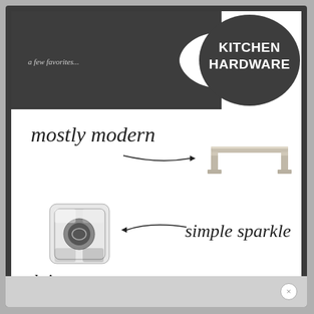KITCHEN HARDWARE
a few favorites...
[Figure (illustration): Dark spoon-shaped banner with 'KITCHEN HARDWARE' text and script label 'a few favorites...']
[Figure (illustration): Script text 'mostly modern' with arrow pointing right toward a modern brushed nickel bar pull handle]
[Figure (illustration): A crystal/glass square cabinet knob (simple sparkle) with arrow and script text 'simple sparkle']
[Figure (illustration): Script text 'plain yet fancy' with arrow pointing to a polished nickel rectangular bar pull handle]
to top